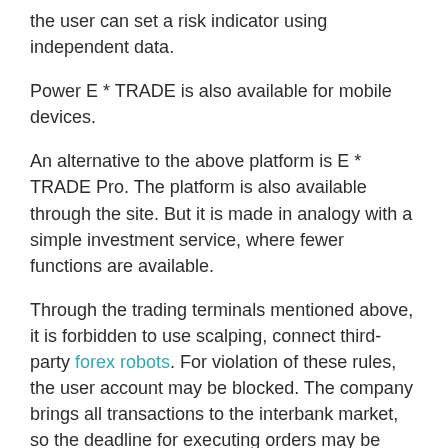the user can set a risk indicator using independent data.
Power E * TRADE is also available for mobile devices.
An alternative to the above platform is E * TRADE Pro. The platform is also available through the site. But it is made in analogy with a simple investment service, where fewer functions are available.
Through the trading terminals mentioned above, it is forbidden to use scalping, connect third-party forex robots. For violation of these rules, the user account may be blocked. The company brings all transactions to the interbank market, so the deadline for executing orders may be delayed from 1 second.
Another fx broker platform is OptionsHouse. With its help,